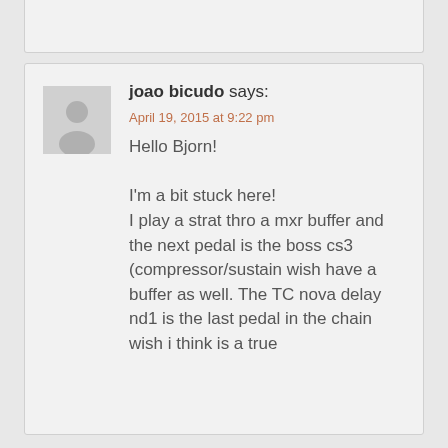joao bicudo says:
April 19, 2015 at 9:22 pm
Hello Bjorn!

I'm a bit stuck here!
I play a strat thro a mxr buffer and the next pedal is the boss cs3 (compressor/sustain wish have a buffer as well. The TC nova delay nd1 is the last pedal in the chain wish i think is a true